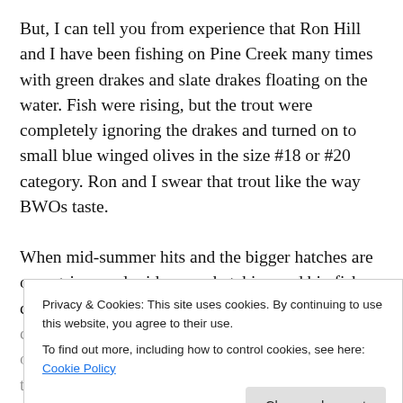But, I can tell you from experience that Ron Hill and I have been fishing on Pine Creek many times with green drakes and slate drakes floating on the water. Fish were rising, but the trout were completely ignoring the drakes and turned on to small blue winged olives in the size #18 or #20 category. Ron and I swear that trout like the way BWOs taste.
When mid-summer hits and the bigger hatches are over, tricos and midges are hatching and big fish can be sipping these flies with consistency and will completely ignore
Privacy & Cookies: This site uses cookies. By continuing to use this website, you agree to their use.
To find out more, including how to control cookies, see here: Cookie Policy
on a griffin's gnat or a gray midge on 7x or 8x tippet.